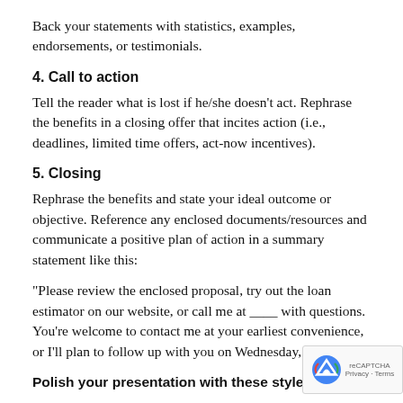Back your statements with statistics, examples, endorsements, or testimonials.
4. Call to action
Tell the reader what is lost if he/she doesn't act. Rephrase the benefits in a closing offer that incites action (i.e., deadlines, limited time offers, act-now incentives).
5. Closing
Rephrase the benefits and state your ideal outcome or objective. Reference any enclosed documents/resources and communicate a positive plan of action in a summary statement like this:
“Please review the enclosed proposal, try out the loan estimator on our website, or call me at ____ with questions. You’re welcome to contact me at your earliest convenience, or I’ll plan to follow up with you on Wednesday, May 1.”
Polish your presentation with these style guidelines